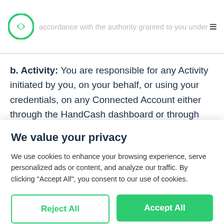accordance with the authority granted to you under
b. Activity: You are responsible for any Activity initiated by you, on your behalf, or using your credentials, on any Connected Account either through the HandCash dashboard or through the HandCash Connect Services. Likewise, where either HandCash or Connected Account with
We value your privacy
We use cookies to enhance your browsing experience, serve personalized ads or content, and analyze our traffic. By clicking "Accept All", you consent to our use of cookies.
Reject All | Accept All